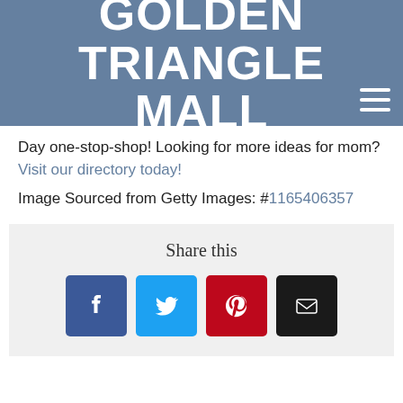GOLDEN TRIANGLE MALL
Day one-stop-shop! Looking for more ideas for mom? Visit our directory today!
Image Sourced from Getty Images: #1165406357
[Figure (other): Share this section with social media buttons: Facebook, Twitter, Pinterest, Email]